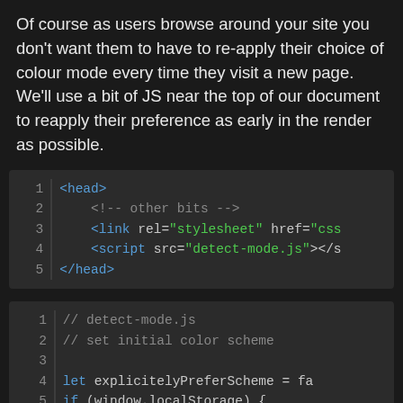Of course as users browse around your site you don't want them to have to re-apply their choice of colour mode every time they visit a new page. We'll use a bit of JS near the top of our document to reapply their preference as early in the render as possible.
[Figure (screenshot): Code block showing HTML head element with link and script tags. Lines: 1: <head>  2: <!-- other bits -->  3: <link rel="stylesheet" href="css...  4: <script src="detect-mode.js"></s...  5: </head>]
[Figure (screenshot): Code block for detect-mode.js. Lines 1-9 showing: comment lines, let explicitelyPreferScheme = false, if (window.localStorage) { if (localStorage.getItem('col... document.documentElement... explicitelyPreferScheme =... } else if (localStorage.getIt...]